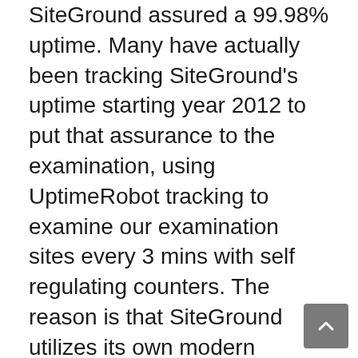SiteGround assured a 99.98% uptime. Many have actually been tracking SiteGround's uptime starting year 2012 to put that assurance to the examination, using UptimeRobot tracking to examine our examination sites every 3 mins with self regulating counters. The reason is that SiteGround utilizes its own modern technology as well as handmade options to forecast, stay clear of and also minimize downtimes.
SiteGround is just one of WordPress's highly suggested handled host. This honor isn't simple to find by; they needed to get through thousands of support, safety and security, and rate tests to make that acknowledgment. SiteGround's WordPress